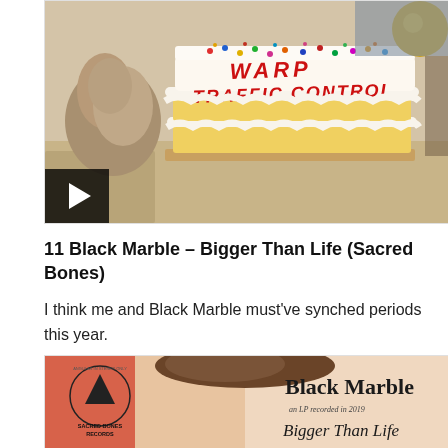[Figure (photo): Photo of a decorated white and yellow layered cake with colorful sprinkles and red icing text reading 'WARP TRAFFIC CONTROL', with a squirrel visible to the left. A video play button overlay is in the lower left corner.]
11 Black Marble – Bigger Than Life (Sacred Bones)
I think me and Black Marble must've synched periods this year.
[Figure (photo): Album cover for Black Marble 'Bigger Than Life' on Sacred Bones Records, an LP recorded in 2019. Shows a close-up of a person's face/neck with stylized text overlay.]